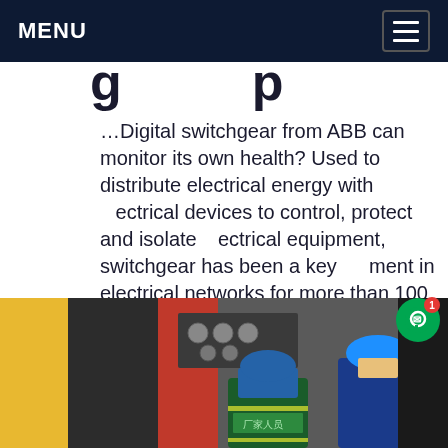MENU
...g...p...
…Digital switchgear from ABB can monitor its own health? Used to distribute electrical energy with electrical devices to control, protect and isolate electrical equipment, switchgear has been a key element in electrical networks for more than 100 years.Get price
[Figure (photo): Workers in blue hard hats and safety vests working on industrial switchgear/electrical equipment panel. Red cabinet with control panel visible. One worker wears a green vest with Chinese characters.]